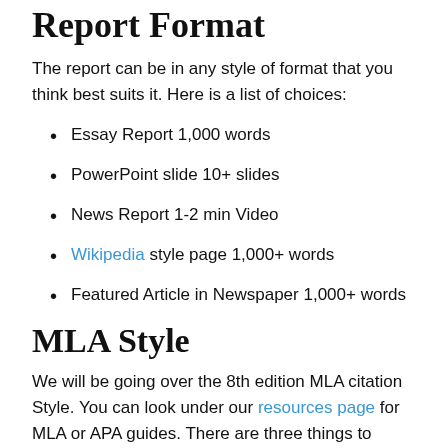Report Format
The report can be in any style of format that you think best suits it. Here is a list of choices:
Essay Report 1,000 words
PowerPoint slide 10+ slides
News Report 1-2 min Video
Wikipedia style page 1,000+ words
Featured Article in Newspaper 1,000+ words
MLA Style
We will be going over the 8th edition MLA citation Style. You can look under our resources page for MLA or APA guides. There are three things to consider for